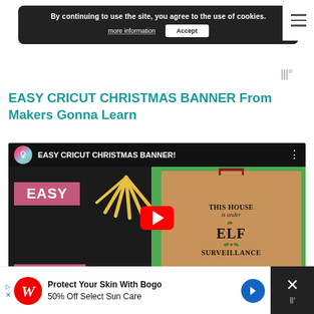By continuing to use the site, you agree to the use of cookies. more information  Accept
EASY CRICUT CHRISTMAS BANNER From Makers Gonna Learn
[Figure (screenshot): YouTube video thumbnail for 'EASY CRICUT CHRISTMAS BANNER!' showing pink/magenta 'EASY' and 'CRICUT' text blocks on dark background with gold starburst, and a burlap sign reading 'This House is under ELF Surveillance' on a green background. Red YouTube play button in center.]
Protect Your Skin With Bogo 50% Off Select Sun Care